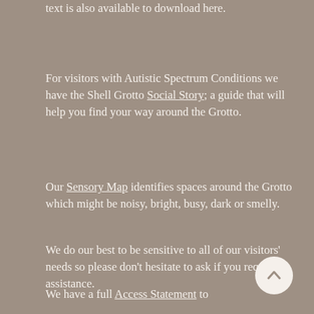text is also available to download here.
For visitors with Autistic Spectrum Conditions we have the Shell Grotto Social Story; a guide that will help you find your way around the Grotto.
Our Sensory Map identifies spaces around the Grotto which might be noisy, bright, busy, dark or smelly.
We do our best to be sensitive to all of our visitors' needs so please don't hesitate to ask if you require assistance.
We have a full Access Statement to